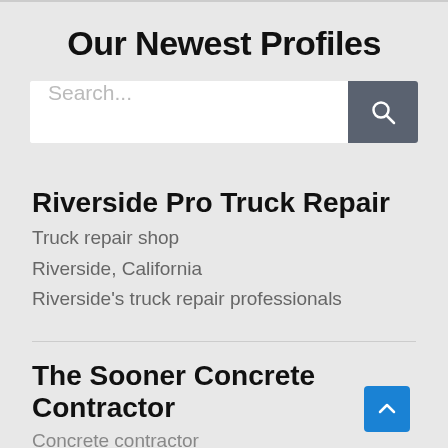Our Newest Profiles
[Figure (screenshot): Search bar with text input showing 'Search...' placeholder and a dark grey search button with magnifying glass icon]
Riverside Pro Truck Repair
Truck repair shop
Riverside, California
Riverside's truck repair professionals
The Sooner Concrete Contractor
Concrete contractor